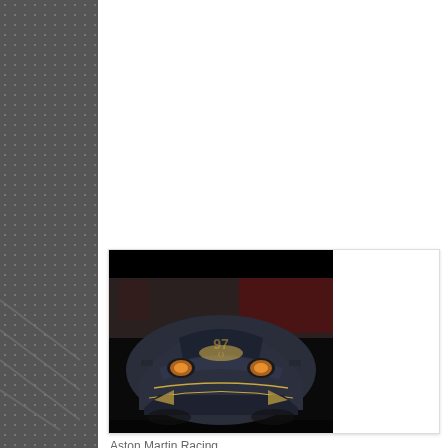[Figure (photo): Front view of an Aston Martin racing car with Richard Mille sponsor livery, dark blue/grey color with gold accents, photographed at a racing event with pit crew in red uniforms visible in background.]
Aston Martin Racing - 2016 - 24 Hours of